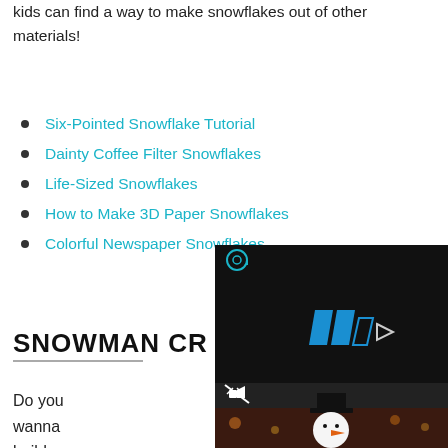kids can find a way to make snowflakes out of other materials!
Six-Pointed Snowflake Tutorial
Dainty Coffee Filter Snowflakes
Life-Sized Snowflakes
How to Make 3D Paper Snowflakes
Colorful Newspaper Snowflakes
SNOWMAN CR...
Do you wanna build a
[Figure (photo): Video player overlay with dark background, play button icon in blue, and mute icon. Below, a photo of a snowman wearing a black top hat with orange carrot nose, in a warm-lit background.]